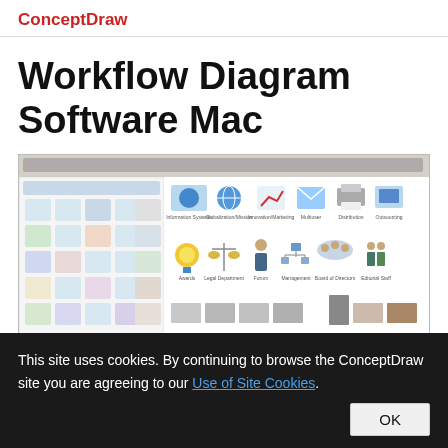ConceptDraw
Workflow Diagram Software Mac
[Figure (screenshot): ConceptDraw software interface showing workflow diagram icons including information systems, distribution, outsourcing, telecommunications, marketing, legal department, forum, management, board of directors, editorial staff, customer service, accounting, managing, honor categories with various illustrated icons]
This site uses cookies. By continuing to browse the ConceptDraw site you are agreeing to our Use of Site Cookies.
OK